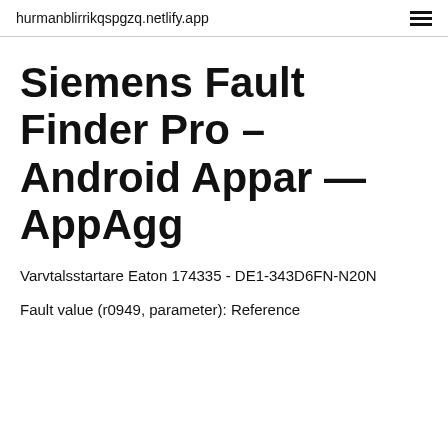hurmanblirrikqspgzq.netlify.app
Siemens Fault Finder Pro – Android Appar — AppAgg
Varvtalsstartare Eaton 174335 - DE1-343D6FN-N20N
Fault value (r0949, parameter): Reference